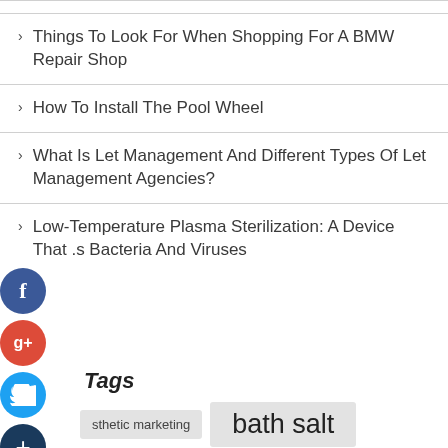Things To Look For When Shopping For A BMW Repair Shop
How To Install The Pool Wheel
What Is Let Management And Different Types Of Let Management Agencies?
Low-Temperature Plasma Sterilization: A Device That Kills Bacteria And Viruses
Tags
aesthetic marketing
bath salt
bath salt from Amazon